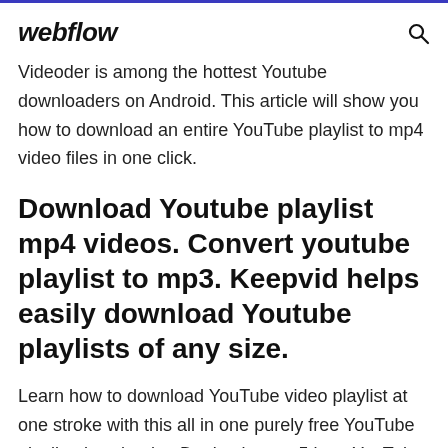webflow
Videoder is among the hottest Youtube downloaders on Android. This article will show you how to download an entire YouTube playlist to mp4 video files in one click.
Download Youtube playlist mp4 videos. Convert youtube playlist to mp3. Keepvid helps easily download Youtube playlists of any size.
Learn how to download YouTube video playlist at one stroke with this all in one purely free YouTube playlist downloader. Don't miss top 5 best YouTube playlist downloader.